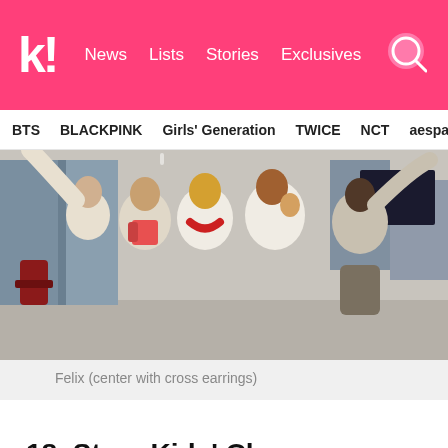k! News Lists Stories Exclusives
BTS  BLACKPINK  Girls' Generation  TWICE  NCT  aespa
[Figure (photo): Group photo of Stray Kids members posing together indoors, wearing cream/white outfits; Felix is in the center with cross earrings and a red bandana scarf]
Felix (center with cross earrings)
18. Stray Kids' Chan